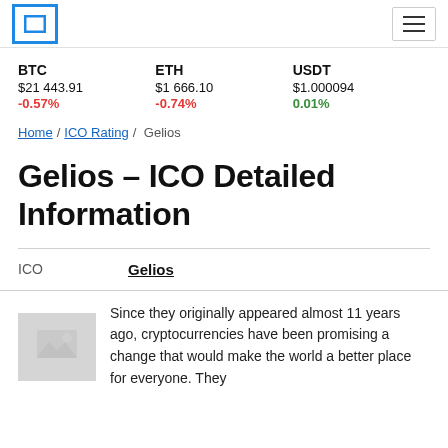Coinpaprika — BTC $21 443.91 -0.57% | ETH $1 666.10 -0.74% | USDT $1.000094 0.01%
BTC
$21 443.91
-0.57%
ETH
$1 666.10
-0.74%
USDT
$1.000094
0.01%
Home / ICO Rating / Gelios
Gelios – ICO Detailed Information
| ICO |  |
| --- | --- |
| ICO | Gelios |
Since they originally appeared almost 11 years ago, cryptocurrencies have been promising a change that would make the world a better place for everyone. They